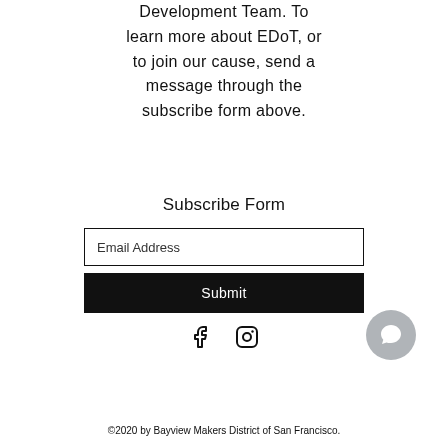Development Team. To learn more about EDoT, or to join our cause, send a message through the subscribe form above.
Subscribe Form
Email Address
Submit
[Figure (illustration): Facebook and Instagram social media icons side by side, plus a chat bubble icon in the bottom right]
©2020 by Bayview Makers District of San Francisco.